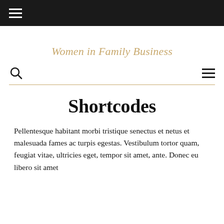≡
Women in Family Business
Shortcodes
Pellentesque habitant morbi tristique senectus et netus et malesuada fames ac turpis egestas. Vestibulum tortor quam, feugiat vitae, ultricies eget, tempor sit amet, ante. Donec eu libero sit amet